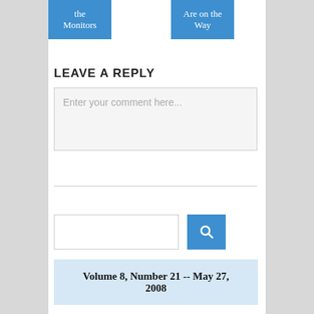[Figure (screenshot): Blue button with text 'the Monitors' in white serif font]
[Figure (screenshot): Blue button with text 'Are on the Way' in white serif font]
LEAVE A REPLY
[Figure (screenshot): Comment text input box with placeholder text 'Enter your comment here...']
[Figure (screenshot): Search input field with blue search button containing magnifying glass icon]
Volume 8, Number 21 -- May 27, 2008